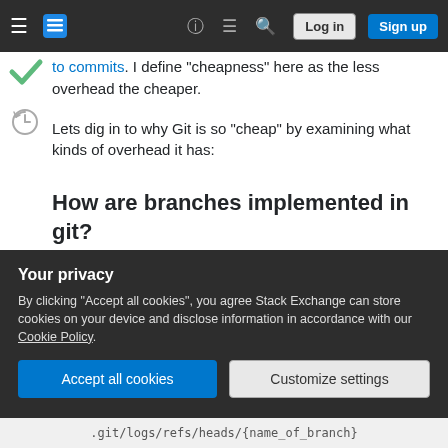Stack Exchange navigation bar with Log in and Sign up buttons
to commits. I define "cheapness" here as the less overhead the cheaper.
Lets dig in to why Git is so "cheap" by examining what kinds of overhead it has:
How are branches implemented in git?
The git repository, .git mostly consists of directories with files that contain metadata that git uses. Whenever you create a branch in git, with e.g. git branch [name_of_branch] a few things
Your privacy
By clicking "Accept all cookies", you agree Stack Exchange can store cookies on your device and disclose information in accordance with our Cookie Policy.
Accept all cookies
Customize settings
.git/logs/refs/heads/{name_of_branch}